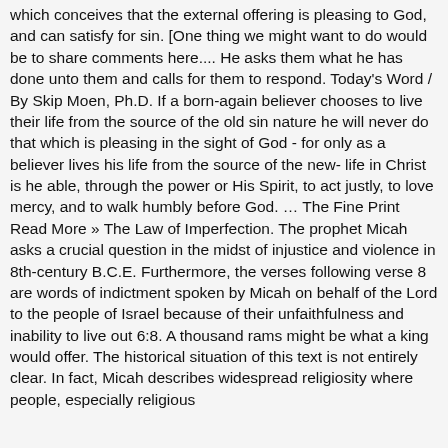which conceives that the external offering is pleasing to God, and can satisfy for sin. [One thing we might want to do would be to share comments here.... He asks them what he has done unto them and calls for them to respond. Today's Word / By Skip Moen, Ph.D. If a born-again believer chooses to live their life from the source of the old sin nature he will never do that which is pleasing in the sight of God - for only as a believer lives his life from the source of the new- life in Christ is he able, through the power or His Spirit, to act justly, to love mercy, and to walk humbly before God. … The Fine Print Read More » The Law of Imperfection. The prophet Micah asks a crucial question in the midst of injustice and violence in 8th-century B.C.E. Furthermore, the verses following verse 8 are words of indictment spoken by Micah on behalf of the Lord to the people of Israel because of their unfaithfulness and inability to live out 6:8. A thousand rams might be what a king would offer. The historical situation of this text is not entirely clear. In fact, Micah describes widespread religiosity where people, especially religious